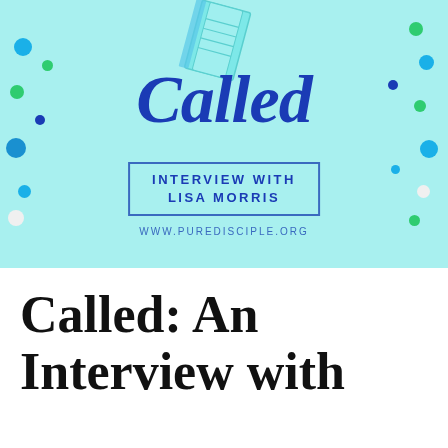[Figure (illustration): Light blue banner with decorative colorful dots scattered around the edges. Contains a cursive/script 'Called' logo in dark blue with a notebook graphic in the upper center. A bordered box reads 'INTERVIEW WITH LISA MORRIS' and below that 'WWW.PUREDISCIPLE.ORG' in smaller spaced lettering.]
Called: An Interview with